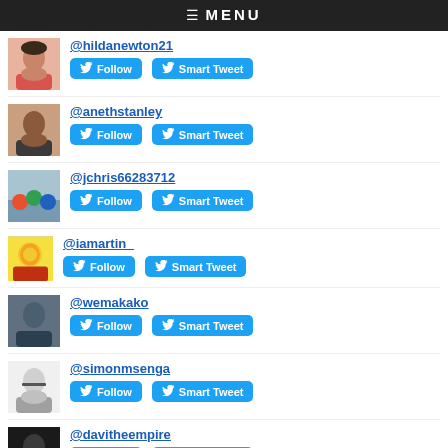≡ MENU
@hildanewton21
@anethstanley
@jchris66283712
@iamartin_
@wemakako
@simonmsenga
@davitheempire
@mackphason